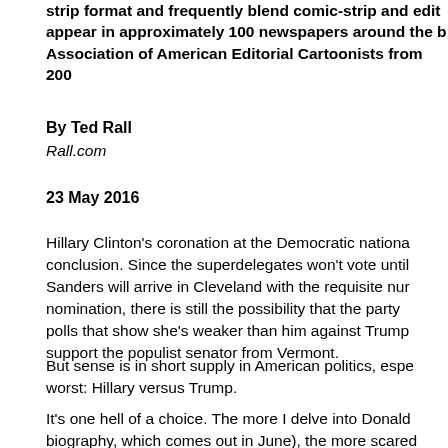strip format and frequently blend comic-strip and edit appear in approximately 100 newspapers around the b Association of American Editorial Cartoonists from 200
By Ted Rall
Rall.com
23 May 2016
Hillary Clinton's coronation at the Democratic nationa conclusion. Since the superdelegates won't vote until Sanders will arrive in Cleveland with the requisite nur nomination, there is still the possibility that the party polls that show she's weaker than him against Trump support the populist senator from Vermont.
But sense is in short supply in American politics, espe worst: Hillary versus Trump.
It's one hell of a choice. The more I delve into Donald biography, which comes out in June), the more scared